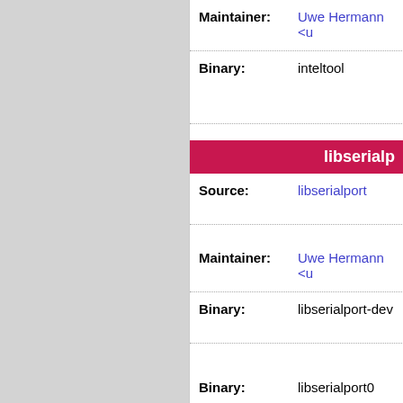| Field | Value |
| --- | --- |
| Maintainer: | Uwe Hermann <u… |
| Binary: | inteltool |
libserialp…
| Field | Value |
| --- | --- |
| Source: | libserialport |
| Maintainer: | Uwe Hermann <u… |
| Binary: | libserialport-dev |
| Binary: | libserialport0 |
libsigro…
| Field | Value |
| --- | --- |
| Source: | libsigrok |
| Maintainer: | Uwe Hermann <u… |
| Binary: | libsigrok-dev |